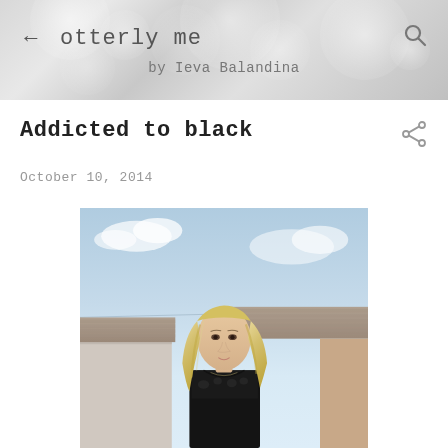otterly me by Ieva Balandina
Addicted to black
October 10, 2014
[Figure (photo): Blonde woman in black outfit standing outdoors with rooftops and blue sky in background]